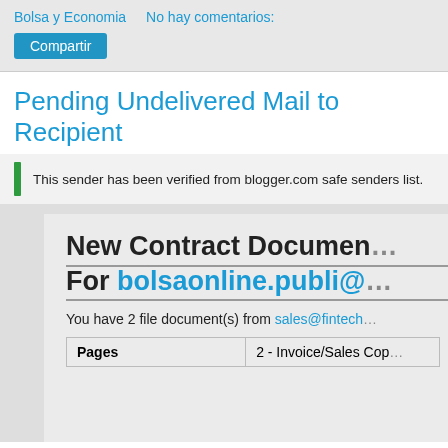Bolsa y Economia   No hay comentarios:
Compartir
Pending Undelivered Mail to Recipient
This sender has been verified from blogger.com safe senders list.
New Contract Document For bolsaonline.publi@...
You have 2 file document(s) from sales@fintech...
| Pages |  |
| --- | --- |
| Pages | 2 - Invoice/Sales Cop... |